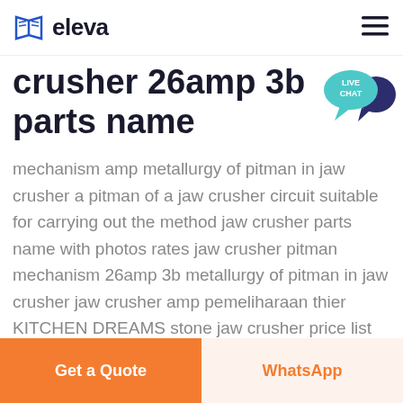eleva
crusher 26amp 3b parts name
mechanism amp metallurgy of pitman in jaw crusher a pitman of a jaw crusher circuit suitable for carrying out the method jaw crusher parts name with photos rates jaw crusher pitman mechanism 26amp 3b metallurgy of pitman in jaw crusher jaw crusher amp pemeliharaan thier KITCHEN DREAMS stone jaw crusher price list amp image
Get a Quote | WhatsApp